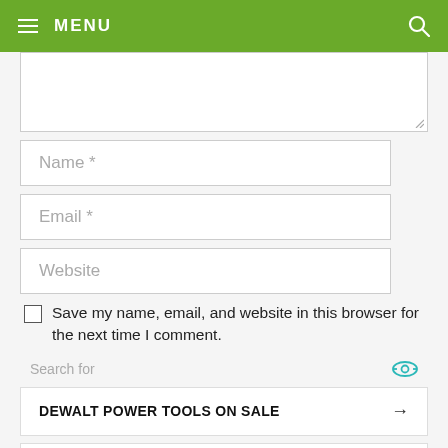MENU
[Figure (screenshot): Textarea input box (comment field), partially visible, with resize handle at bottom right]
[Figure (screenshot): Name * text input field]
[Figure (screenshot): Email * text input field]
[Figure (screenshot): Website text input field]
Save my name, email, and website in this browser for the next time I comment.
Search for
DEWALT POWER TOOLS ON SALE →
CORDLESS POWER TOOL COMBO →
Ad | Business Focus